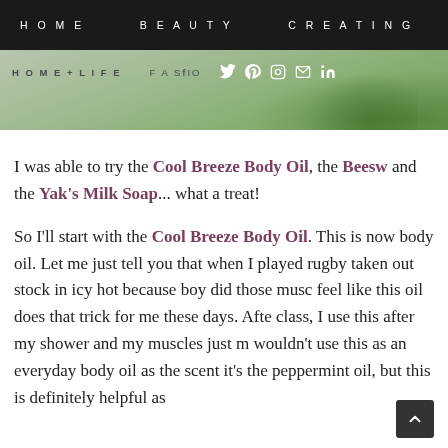HOME   BEAUTY   CREATING
[Figure (screenshot): Website navigation bar with HOME+LIFE and FASHION links and social media icons (Twitter, Pinterest, Instagram, Email, LinkedIn) over a blurred green plant hero image]
I was able to try the Cool Breeze Body Oil, the Beesw and the Yak's Milk Soap... what a treat!
So I'll start with the Cool Breeze Body Oil. This is now body oil. Let me just tell you that when I played rugby taken out stock in icy hot because boy did those musc feel like this oil does that trick for me these days. Afte class, I use this after my shower and my muscles just m wouldn't use this as an everyday body oil as the scent it's the peppermint oil, but this is definitely helpful as